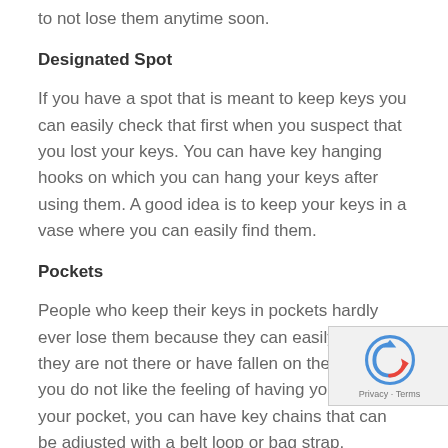to not lose them anytime soon.
Designated Spot
If you have a spot that is meant to keep keys you can easily check that first when you suspect that you lost your keys. You can have key hanging hooks on which you can hang your keys after using them. A good idea is to keep your keys in a vase where you can easily find them.
Pockets
People who keep their keys in pockets hardly ever lose them because they can easily detect if they are not there or have fallen on the ground. If you do not like the feeling of having your keys in your pocket, you can have key chains that can be adjusted with a belt loop or bag strap.
Extra Copies